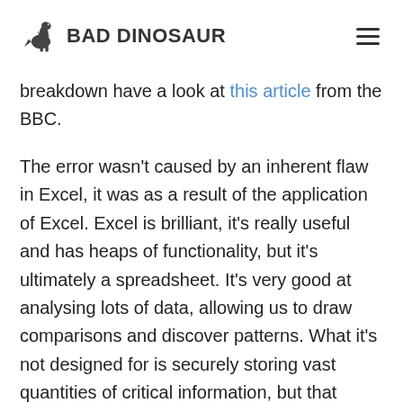BAD DINOSAUR
breakdown have a look at this article from the BBC.
The error wasn't caused by an inherent flaw in Excel, it was as a result of the application of Excel. Excel is brilliant, it's really useful and has heaps of functionality, but it's ultimately a spreadsheet. It's very good at analysing lots of data, allowing us to draw comparisons and discover patterns. What it's not designed for is securely storing vast quantities of critical information, but that doesn't stop us trying. And while it is possible to create something akin to a relational database with excel, most users don't think like software developers. So we end up with a